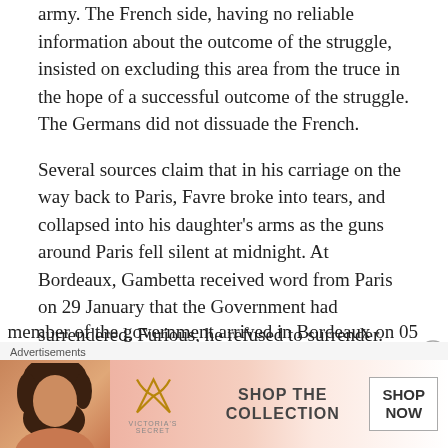army. The French side, having no reliable information about the outcome of the struggle, insisted on excluding this area from the truce in the hope of a successful outcome of the struggle. The Germans did not dissuade the French.
Several sources claim that in his carriage on the way back to Paris, Favre broke into tears, and collapsed into his daughter's arms as the guns around Paris fell silent at midnight. At Bordeaux, Gambetta received word from Paris on 29 January that the Government had surrendered. Furious, he refused to surrender. Jules Simon, a member of the Government arrived from Paris by train on 01 February to negotiate with Gambetta. Another [member of the government arrived in Bordeaux on 05...
[Figure (other): Victoria's Secret advertisement banner with a woman model, Victoria's Secret logo, 'SHOP THE COLLECTION' text, and a 'SHOP NOW' button. Labeled 'Advertisements' above.]